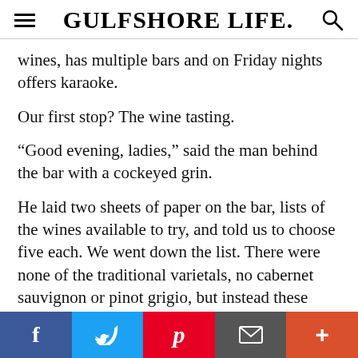GULFSHORE LIFE
wines, has multiple bars and on Friday nights offers karaoke.
Our first stop? The wine tasting.
“Good evening, ladies,” said the man behind the bar with a cockeyed grin.
He laid two sheets of paper on the bar, lists of the wines available to try, and told us to choose five each. We went down the list. There were none of the traditional varietals, no cabernet sauvignon or pinot grigio, but instead these wines were made with fruit from the Redland area— avocado
Facebook  Twitter  Pinterest  Email  More